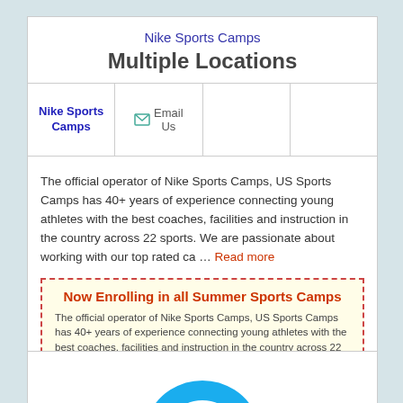Nike Sports Camps
Multiple Locations
| Nike Sports Camps | Email Us |  |  |
| --- | --- | --- | --- |
The official operator of Nike Sports Camps, US Sports Camps has 40+ years of experience connecting young athletes with the best coaches, facilities and instruction in the country across 22 sports. We are passionate about working with our top rated ca … Read more
Now Enrolling in all Summer Sports Camps
The official operator of Nike Sports Camps, US Sports Camps has 40+ years of experience connecting young athletes with the best coaches, facilities and instruction in the country across 22 s...
View Nike Sports Camps Coupon
[Figure (illustration): Partial blue arc/circle logo at the bottom of the page]